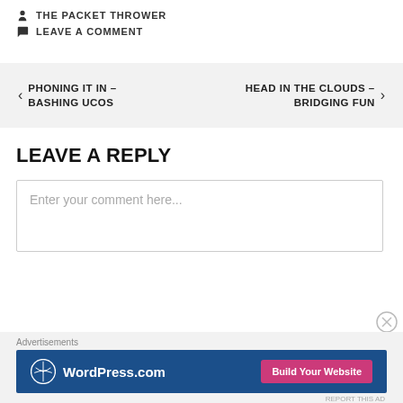THE PACKET THROWER
LEAVE A COMMENT
← PHONING IT IN – BASHING UCOS
HEAD IN THE CLOUDS – BRIDGING FUN →
LEAVE A REPLY
Enter your comment here...
Advertisements
[Figure (screenshot): WordPress.com advertisement banner with logo and Build Your Website button]